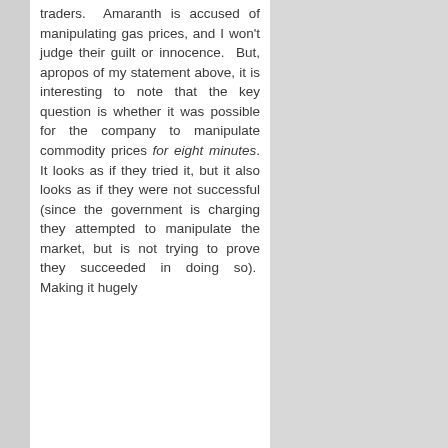traders. Amaranth is accused of manipulating gas prices, and I won't judge their guilt or innocence. But, apropos of my statement above, it is interesting to note that the key question is whether it was possible for the company to manipulate commodity prices for eight minutes. It looks as if they tried it, but it also looks as if they were not successful (since the government is charging they attempted to manipulate the market, but is not trying to prove they succeeded in doing so). Making it hugely